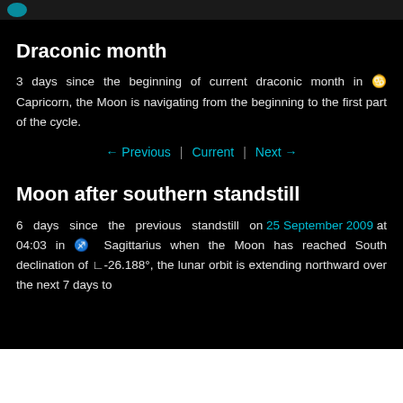Draconic month
3 days since the beginning of current draconic month in ♑ Capricorn, the Moon is navigating from the beginning to the first part of the cycle.
← Previous  |  Current  |  Next →
Moon after southern standstill
6 days since the previous standstill on 25 September 2009 at 04:03 in ♐ Sagittarius when the Moon has reached South declination of ∠-26.188°, the lunar orbit is extending northward over the next 7 days to